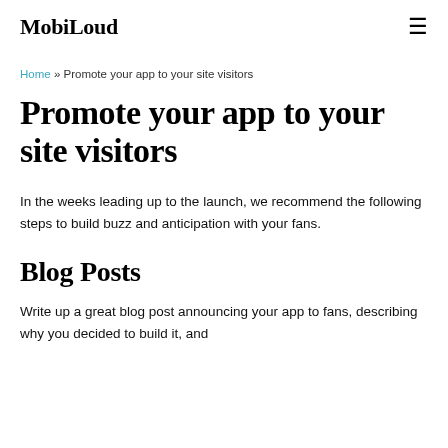MobiLoud
Home » Promote your app to your site visitors
Promote your app to your site visitors
In the weeks leading up to the launch, we recommend the following steps to build buzz and anticipation with your fans.
Blog Posts
Write up a great blog post announcing your app to fans, describing why you decided to build it, and